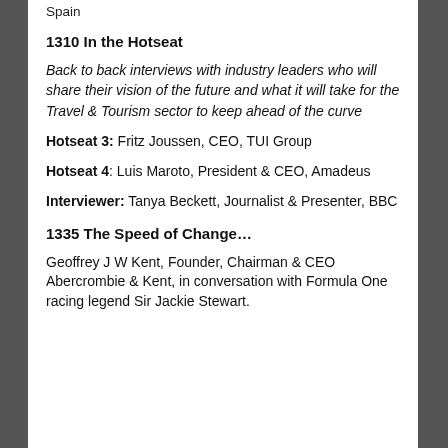Spain
1310 In the Hotseat
Back to back interviews with industry leaders who will share their vision of the future and what it will take for the Travel & Tourism sector to keep ahead of the curve
Hotseat 3: Fritz Joussen, CEO, TUI Group
Hotseat 4: Luis Maroto, President & CEO, Amadeus
Interviewer: Tanya Beckett, Journalist & Presenter, BBC
1335 The Speed of Change...
Geoffrey J W Kent, Founder, Chairman & CEO Abercrombie & Kent, in conversation with Formula One racing legend Sir Jackie Stewart.